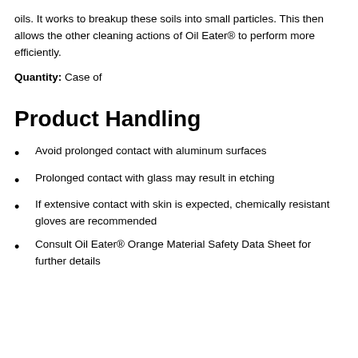oils. It works to breakup these soils into small particles. This then allows the other cleaning actions of Oil Eater® to perform more efficiently.
Quantity: Case of
Product Handling
Avoid prolonged contact with aluminum surfaces
Prolonged contact with glass may result in etching
If extensive contact with skin is expected, chemically resistant gloves are recommended
Consult Oil Eater® Orange Material Safety Data Sheet for further details